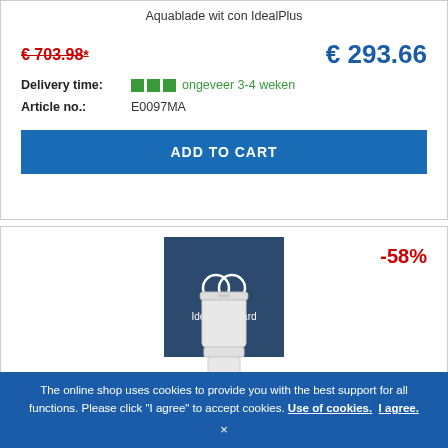Aquablade wit con IdealPlus
€ 703.98* € 293.66
Delivery time: ongeveer 3-4 weken
Article no.: E0097MA
ADD TO CART
[Figure (logo): Ideal Standard logo on dark blue square background]
-58%
[Figure (photo): White toilet/cistern product photo]
The online shop uses cookies to provide you with the best support for all functions. Please click "I agree" to accept cookies. Use of cookies. I agree. ×